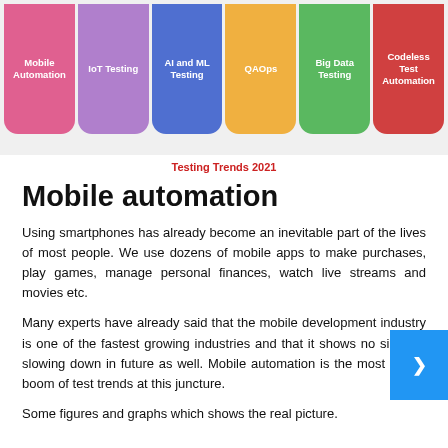[Figure (infographic): Six colored tab-shaped buttons arranged horizontally: Mobile Automation (pink), IoT Testing (purple), AI and ML Testing (blue), QAOps (orange), Big Data Testing (green), Codeless Test Automation (red)]
Testing Trends 2021
Mobile automation
Using smartphones has already become an inevitable part of the lives of most people. We use dozens of mobile apps to make purchases, play games, manage personal finances, watch live streams and movies etc.
Many experts have already said that the mobile development industry is one of the fastest growing industries and that it shows no signs of slowing down in future as well. Mobile automation is the most recent boom of test trends at this juncture.
Some figures and graphs which shows the real picture.